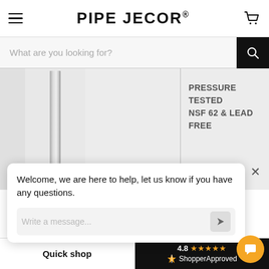PIPE DECOR
What are you looking for?
[Figure (photo): A silver metal threaded pipe shown vertically against a light background, with text reading PRESSURE TESTED NSF 62 & LEAD FREE]
Welcome, we are here to help, let us know if you have any questions.
$4.19
1/2 in.
Quick shop
4.8 ★★★★★
ShopperApproved